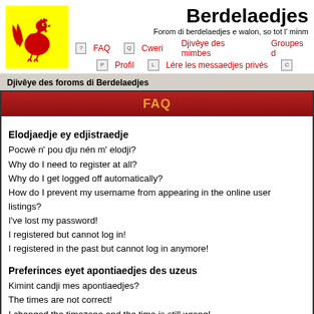Berdelaedjes
Forom di berdelaedjes e walon, so tot l' minm
FAQ  Cweri  Djivêye des mimbes  Groupes d  Profil  Lére les messaedjes privés
Djivêye des foroms di Berdelaedjes
FAQ
Elodjaedje ey edjistraedje
Pocwè n' pou dju nén m' elodji?
Why do I need to register at all?
Why do I get logged off automatically?
How do I prevent my username from appearing in the online user listings?
I've lost my password!
I registered but cannot log in!
I registered in the past but cannot log in anymore!
Preferinces eyet apontiaedjes des uzeus
Kimint candji mes apontiaedjes?
The times are not correct!
I changed the timezone and the time is still wrong!
Mi lingaedje ni s' trove nén el djivêye!
How do I show an image below my username?
How do I change my rank?
When I click the email link for a user it asks me to log in.